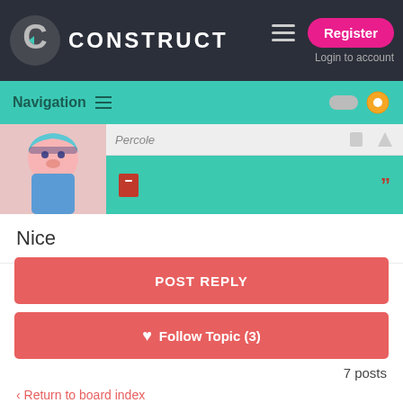CONSTRUCT — Register / Login to account
Navigation
Nice
POST REPLY
♥ Follow Topic (3)
7 posts
< Return to board index
Jump to: How do I....?
GO
Active Users